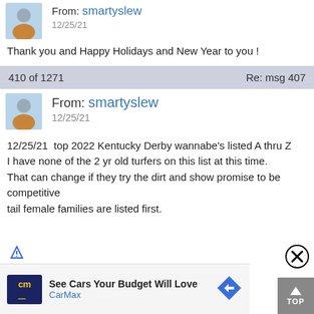From: smartyslew
12/25/21
Thank you and Happy Holidays and New Year to you !
410 of 1271
Re: msg 407
From: smartyslew
12/25/21
12/25/21  top 2022 Kentucky Derby wannabe's listed A thru Z
I have none of the 2 yr old turfers on this list at this time.
That can change if they try the dirt and show promise to be competitive
tail female families are listed first.
[Figure (infographic): CarMax advertisement banner: See Cars Your Budget Will Love, with CarMax logo and navigation arrow icon]